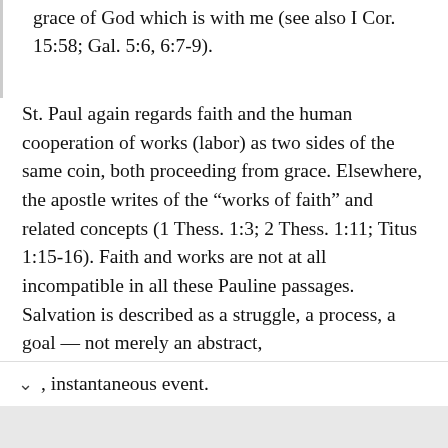grace of God which is with me (see also I Cor. 15:58; Gal. 5:6, 6:7-9).
St. Paul again regards faith and the human cooperation of works (labor) as two sides of the same coin, both proceeding from grace. Elsewhere, the apostle writes of the “works of faith” and related concepts (1 Thess. 1:3; 2 Thess. 1:11; Titus 1:15-16). Faith and works are not at all incompatible in all these Pauline passages. Salvation is described as a struggle, a process, a goal — not merely an abstract, instantaneous event.